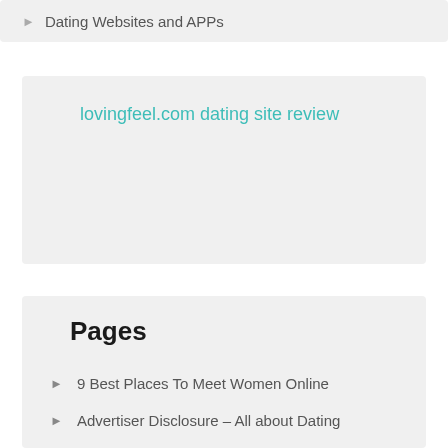Dating Websites and APPs
lovingfeel.com dating site review
Pages
9 Best Places To Meet Women Online
Advertiser Disclosure – All about Dating
Being A Gay Christian Can Be Hurtful And Gruelling But I Refuse To Lose Faith